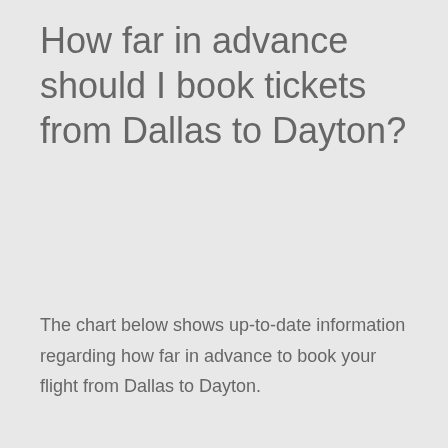How far in advance should I book tickets from Dallas to Dayton?
The chart below shows up-to-date information regarding how far in advance to book your flight from Dallas to Dayton.
Non Stop versus Connecting ($ USD)